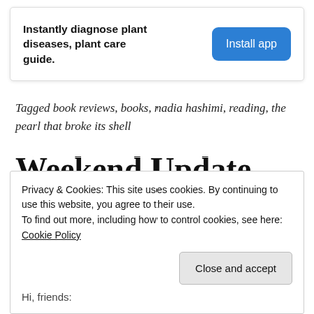[Figure (other): Advertisement banner: 'Instantly diagnose plant diseases, plant care guide.' with a blue 'Install app' button]
Tagged book reviews, books, nadia hashimi, reading, the pearl that broke its shell
Weekend Update
Privacy & Cookies: This site uses cookies. By continuing to use this website, you agree to their use.
To find out more, including how to control cookies, see here:
Cookie Policy
Hi, friends: